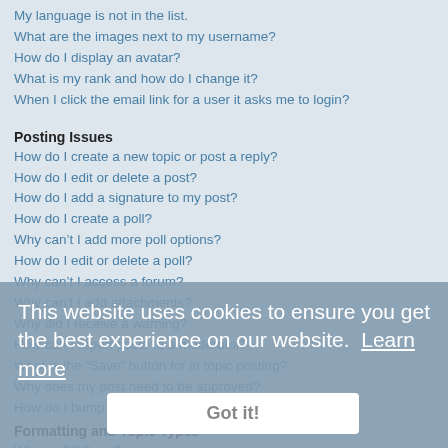My language is not in the list.
What are the images next to my username?
How do I display an avatar?
What is my rank and how do I change it?
When I click the email link for a user it asks me to login?
Posting Issues
How do I create a new topic or post a reply?
How do I edit or delete a post?
How do I add a signature to my post?
How do I create a poll?
Why can't I add more poll options?
How do I edit or delete a poll?
Why can't I access a forum?
Why can't I add attachments?
Why did I receive a warning?
How can I report posts to a moderator?
What is the “Save” button for in topic posting?
Why does my post need to be approved?
How do I bump my topic?
Formatting and Topic Types
What is BBCode?
Can I use HTML?
What are Smilies?
Can I post images?
What are global announcements?
What are announcements?
What are sticky topics?
This website uses cookies to ensure you get the best experience on our website. Learn more
Got it!